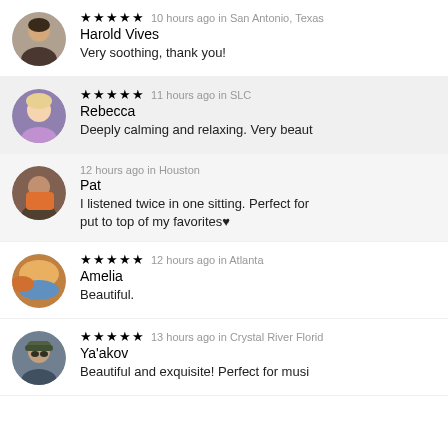Harold Vives — ★★★★★ 10 hours ago in San Antonio, Texas — Very soothing, thank you!
Rebecca — ★★★★★ 11 hours ago in SLC — Deeply calming and relaxing. Very beaut…
Pat — 12 hours ago in Houston — I listened twice in one sitting. Perfect for… put to top of my favorites♥
Amelia — ★★★★★ 12 hours ago in Atlanta — Beautiful.
Ya'akov — ★★★★★ 13 hours ago in Crystal River Florid… — Beautiful and exquisite! Perfect for musi…